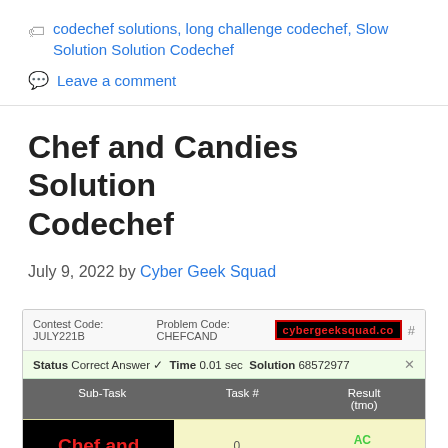codechef solutions, long challenge codechef, Slow Solution Solution Codechef
Leave a comment
Chef and Candies Solution Codechef
July 9, 2022 by Cyber Geek Squad
[Figure (screenshot): CodeChef submission result screenshot showing Contest Code: JULY221B, Problem Code: CHEFCAND, Status: Correct Answer, Time: 0.01 sec, Solution: 68572977, with a table showing Sub-Task, Task #, Result (tmo) columns. Task 0 shows AC (0.003408).]